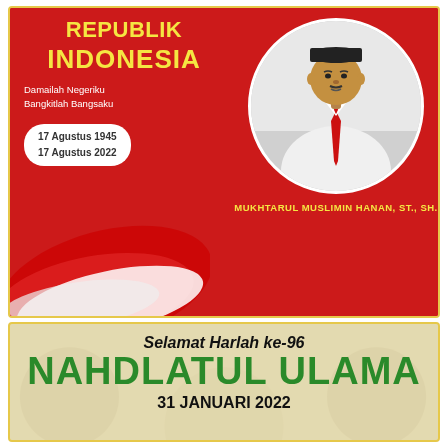[Figure (infographic): Indonesian Independence Day greeting card with red background, yellow text reading REPUBLIK INDONESIA, tagline Damailah Negeriku Bangkitlah Bangsaku, dates 17 Agustus 1945 and 17 Agustus 2022 in white rounded box, Indonesian flag waving on left side, circular photo of man in white shirt with red tie and black peci hat on right, name MUKHTARUL MUSLIMIN HANAN, ST., SH. in yellow at bottom right]
[Figure (infographic): Nahdlatul Ulama 96th anniversary greeting card with patterned background, text Selamat Harlah ke-96 in bold italic, NAHDLATUL ULAMA in large green text, date 31 JANUARI 2022]